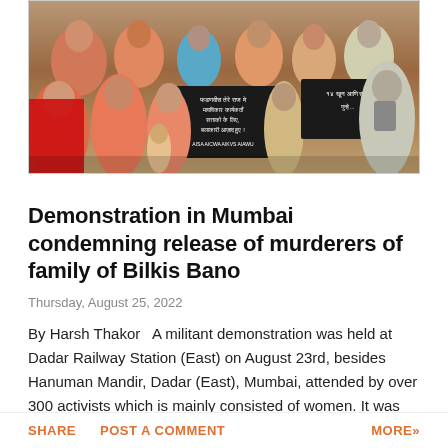[Figure (photo): A crowd of women demonstrators holding black protest signs with Hindi text at what appears to be a public demonstration in Mumbai. Signs include text in Hindi/Marathi script.]
Demonstration in Mumbai condemning release of murderers of family of Bilkis Bano
Thursday, August 25, 2022
By Harsh Thakor  A militant demonstration was held at Dadar Railway Station (East) on August 23rd, besides Hanuman Mandir, Dadar (East), Mumbai, attended by over 300 activists which is mainly consisted of women. It was organised by All …
SHARE   POST A COMMENT   MORE»